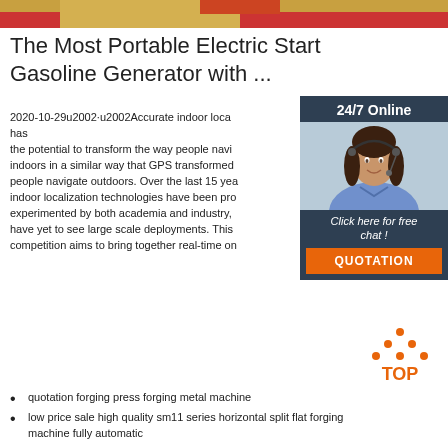[Figure (photo): Top banner image showing partial view of red and orange colored objects, likely industrial equipment or machinery]
The Most Portable Electric Start Gasoline Generator with ...
2020-10-29u2002·u2002Accurate indoor localization has the potential to transform the way people navigate indoors in a similar way that GPS transformed people navigate outdoors. Over the last 15 years, indoor localization technologies have been proposed, experimented by both academia and industry, but we have yet to see large scale deployments. This competition aims to bring together real-time on...
[Figure (photo): Sidebar with dark blue background showing a woman with headset smiling, labeled 24/7 Online with Click here for free chat and QUOTATION button]
Get Price
[Figure (infographic): TOP icon with orange dots arranged in triangle above the word TOP in orange text]
quotation forging press forging metal machine
low price sale high quality sm11 series horizontal split flat forging machine fully automatic